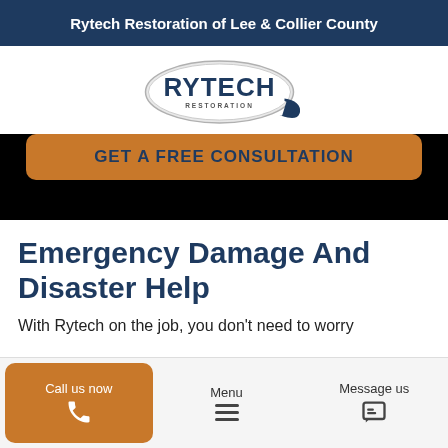Rytech Restoration of Lee & Collier County
[Figure (logo): Rytech Restoration logo — oval badge with RYTECH text in navy blue and RESTORATION below]
GET A FREE CONSULTATION
Emergency Damage And Disaster Help
With Rytech on the job, you don't need to worry
Call us now | Menu | Message us